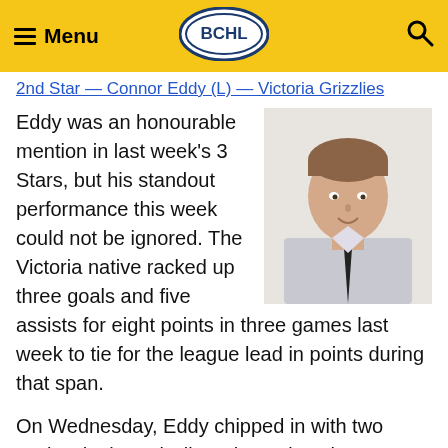Menu | BCHL | Search
2nd Star — Connor Eddy (L) — Victoria Grizzlies
Eddy was an honourable mention in last week's 3 Stars, but his standout performance this week could not be ignored. The Victoria native racked up three goals and five assists for eight points in three games last week to tie for the league lead in points during that span.
[Figure (photo): Headshot photo of Connor Eddy, a young man in a dress shirt and dark tie, smiling.]
On Wednesday, Eddy chipped in with two assists in the Grizzlies win against the Cowichan Valley Capitals. He followed that up on Friday by scoring the overtime game-winning goal in his team's 3-2 triumph over the Alberni Valley Bulldogs. He finished things up on Saturday with two goals and three assists in anothe